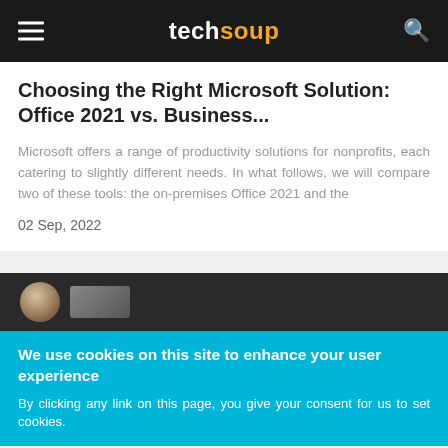techsoup
Choosing the Right Microsoft Solution: Office 2021 vs. Business...
Microsoft offers a range of productivity solutions for nonprofits, each catering to slightly different needs. In what follows, we will compare two of these tools: the on-premises Office 2021 and the
02 Sep, 2022
[Figure (photo): Dark background photo strip showing a person, partially visible]
We use cookies on this site to enhance your user experience
By clicking any link on this page, you give your consent for us to set cookies.